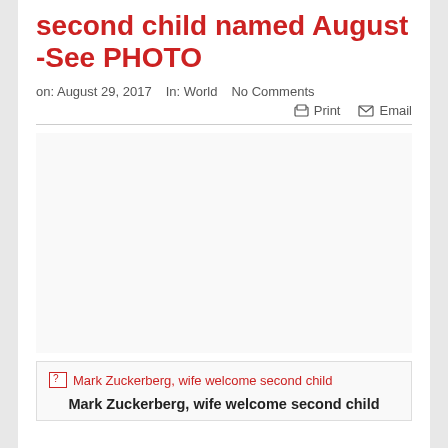second child named August -See PHOTO
on: August 29, 2017   In: World   No Comments
Print   Email
[Figure (photo): Broken image placeholder with alt text: Mark Zuckerberg, wife welcome second child]
Mark Zuckerberg, wife welcome second child